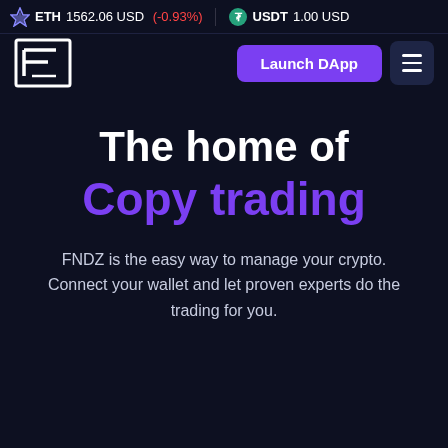ETH 1562.06 USD (-0.93%)   USDT 1.00 USD
[Figure (logo): FNDZ logo — stylized F in a square bracket design, white on dark background]
Launch DApp
The home of Copy trading
FNDZ is the easy way to manage your crypto. Connect your wallet and let proven experts do the trading for you.